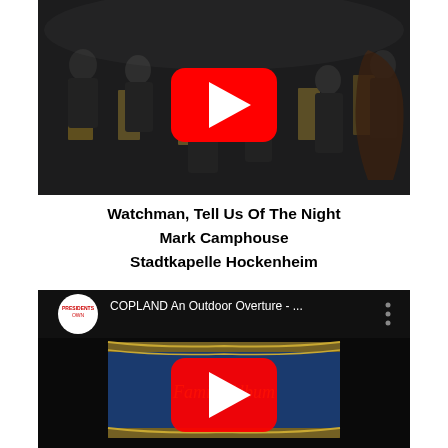[Figure (screenshot): YouTube video thumbnail showing an orchestra/concert band performing on stage, musicians in black attire with music stands. A red YouTube play button is overlaid in the center.]
Watchman, Tell Us Of The Night
Mark Camphouse
Stadtkapelle Hockenheim
[Figure (screenshot): YouTube video thumbnail showing 'COPLAND An Outdoor Overture' video by Presidents Own, featuring a blue Family Album book cover with gold wheat decorations. A red YouTube play button is overlaid in the center.]